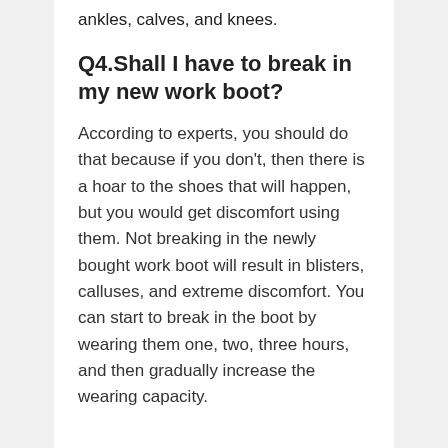ankles, calves, and knees.
Q4.Shall I have to break in my new work boot?
According to experts, you should do that because if you don't, then there is a hoar to the shoes that will happen, but you would get discomfort using them. Not breaking in the newly bought work boot will result in blisters, calluses, and extreme discomfort. You can start to break in the boot by wearing them one, two, three hours, and then gradually increase the wearing capacity.